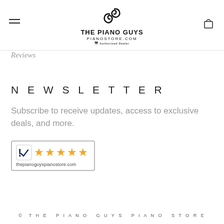THE PIANO GUYS PIANOSTORE.COM — Authorized Dealer
Reviews
NEWSLETTER
Subscribe to receive updates, access to exclusive deals, and more.
[Figure (logo): Rating badge with checkmark logo and 5 gold stars, URL: thepianoguyspianostore.com]
© THE PIANO GUYS PIANO STORE